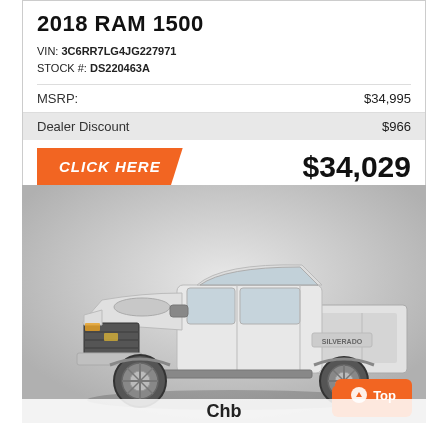2018 RAM 1500
VIN: 3C6RR7LG4JG227971
STOCK #: DS220463A
|  |  |
| --- | --- |
| MSRP: | $34,995 |
| Dealer Discount | $966 |
CLICK HERE   $34,029
[Figure (photo): White Chevrolet Silverado 2500HD pickup truck photographed from the front-left angle on a light gray gradient background.]
Top
Chb